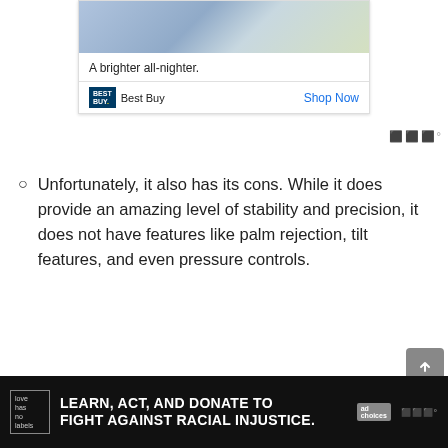[Figure (photo): Partial Best Buy advertisement showing a tablet being held, with tagline 'A brighter all-nighter.' and a 'Shop Now' link.]
Unfortunately, it also has its cons. While it does provide an amazing level of stability and precision, it does not have features like palm rejection, tilt features, and even pressure controls.
See also  Which iPad Should I Buy in 2022?
[Figure (infographic): Black banner advertisement: 'LEARN, ACT, AND DONATE TO FIGHT AGAINST RACIAL INJUSTICE.' with Love Has No Labels logo and AdChoices icon.]